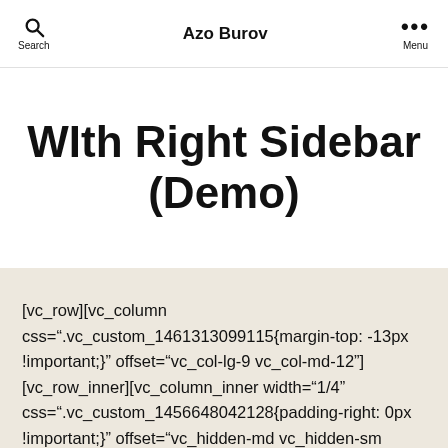Azo Burov
WIth Right Sidebar (Demo)
[vc_row][vc_column css=".vc_custom_1461313099115{margin-top: -13px !important;}" offset="vc_col-lg-9 vc_col-md-12"][vc_row_inner][vc_column_inner width="1/4" css=".vc_custom_1456648042128{padding-right: 0px !important;}" offset="vc_hidden-md vc_hidden-sm vc_hidden-xs"][vc_column_inner css="22"]